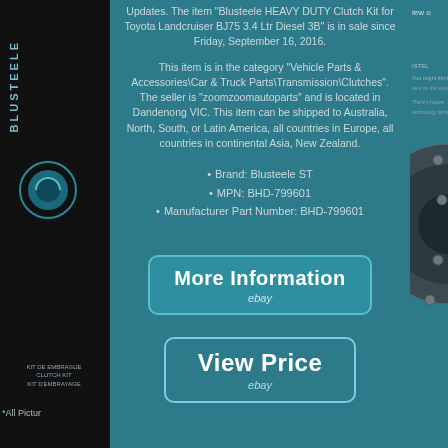[Figure (photo): Left product image strip showing Blusteele clutch kit packaging, dark background with brand name vertical and circular logo]
Updates. The item "Blusteele HEAVY DUTY Clutch Kit for Toyota Landcruiser BJ75 3.4 Ltr Diesel 3B" is in sale since Friday, September 16, 2016.
This item is in the category "Vehicle Parts & Accessories\Car & Truck Parts\Transmission\Clutches". The seller is "zoomzoomautoparts" and is located in Dandenong VIC. This item can be shipped to Australia, North, South, or Latin America, all countries in Europe, all countries in continental Asia, New Zealand.
Brand: Blusteele ST
MPN: BHD-799601
Manufacturer Part Number: BHD-799601
[Figure (screenshot): More Information button with eBay branding, teal/dark teal rounded rectangle button]
[Figure (screenshot): View Price button with eBay branding, transparent rounded rectangle button]
[Figure (photo): Right strip showing partial view of Blusteele clutch disc, circular clutch component on teal background]
*All Pictur